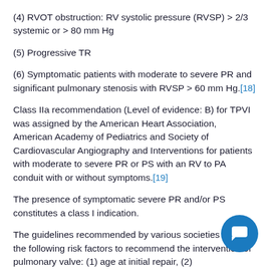(4) RVOT obstruction: RV systolic pressure (RVSP) > 2/3 systemic or > 80 mm Hg
(5) Progressive TR
(6) Symptomatic patients with moderate to severe PR and significant pulmonary stenosis with RVSP > 60 mm Hg.[18]
Class IIa recommendation (Level of evidence: B) for TPVI was assigned by the American Heart Association, American Academy of Pediatrics and Society of Cardiovascular Angiography and Interventions for patients with moderate to severe PR or PS with an RV to PA conduit with or without symptoms.[19]
The presence of symptomatic severe PR and/or PS constitutes a class I indication.
The guidelines recommended by various societies d on the following risk factors to recommend the intervention of pulmonary valve: (1) age at initial repair, (2) electrophysiological markers, and (3) hemodynamic